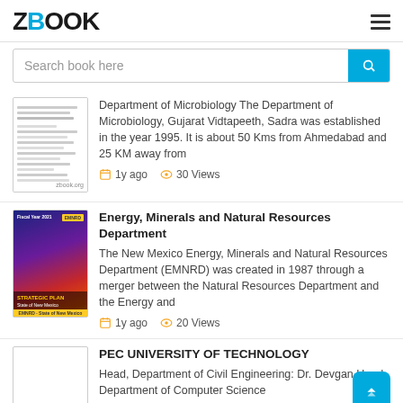ZBOOK
Search book here
Department of Microbiology The Department of Microbiology, Gujarat Vidtapeeth, Sadra was established in the year 1995. It is about 50 Kms from Ahmedabad and 25 KM away from
1y ago   30 Views
Energy, Minerals and Natural Resources Department
The New Mexico Energy, Minerals and Natural Resources Department (EMNRD) was created in 1987 through a merger between the Natural Resources Department and the Energy and
1y ago   20 Views
PEC UNIVERSITY OF TECHNOLOGY
Head, Department of Civil Engineering: Dr. Devgan Head, Department of Computer Science